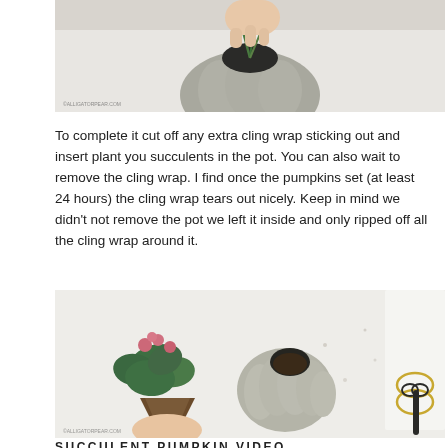[Figure (photo): Top-down photo of a hand holding a small succulent plant being inserted into a concrete/cement pumpkin pot on a white surface]
To complete it cut off any extra cling wrap sticking out and insert plant you succulents in the pot.  You can also wait to remove the cling wrap. I find once the pumpkins set (at least 24 hours) the cling wrap tears out nicely. Keep in mind we didn't not remove the pot we left it inside and only ripped off all the cling wrap around it.
[Figure (photo): Photo showing a plant with pink flowers and green leaves with soil being held next to a grey concrete pumpkin-shaped pot with a hole in the top, scissors and string visible on the right, all on a white surface]
SUCCULENT PUMPKIN VIDEO